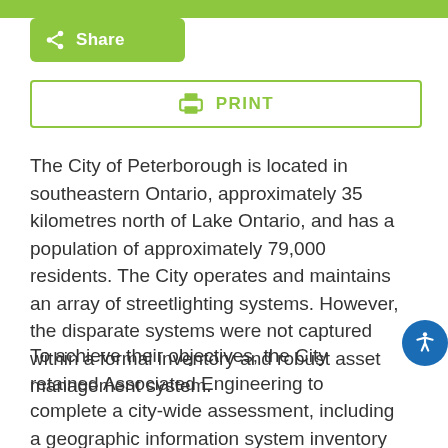[Figure (screenshot): Green top navigation bar]
[Figure (screenshot): Green Share button with share icon]
[Figure (screenshot): Print button with printer icon, bordered in green]
The City of Peterborough is located in southeastern Ontario, approximately 35 kilometres north of Lake Ontario, and has a population of approximately 79,000 residents. The City operates and maintains an array of streetlighting systems. However, the disparate systems were not captured within a formal inventory and robust asset management system.
To achieve their objectives, the City retained Associated Engineering to complete a city-wide assessment, including a geographic information system inventory and quality assessment of the streetlighting, and to provide